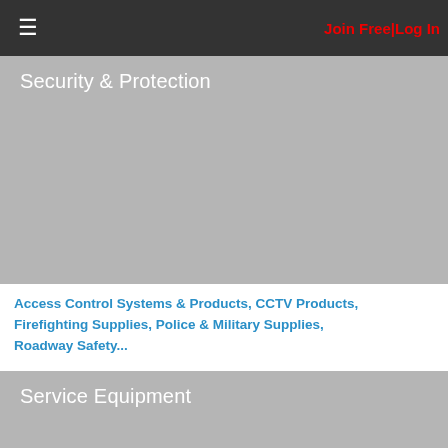≡  Join Free|Log In
[Figure (screenshot): Security & Protection category image block with gray background]
Access Control Systems & Products, CCTV Products, Firefighting Supplies, Police & Military Supplies, Roadway Safety...
[Figure (screenshot): Service Equipment category image block with gray background]